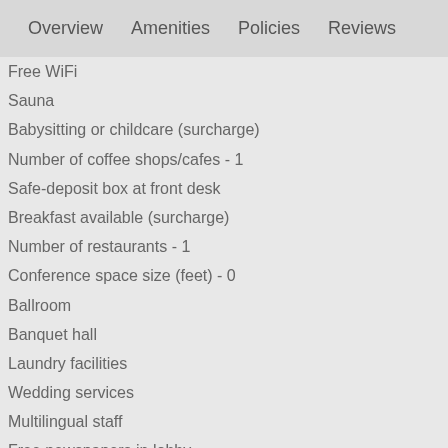Overview   Amenities   Policies   Reviews
Free WiFi
Sauna
Babysitting or childcare (surcharge)
Number of coffee shops/cafes - 1
Safe-deposit box at front desk
Breakfast available (surcharge)
Number of restaurants - 1
Conference space size (feet) - 0
Ballroom
Banquet hall
Laundry facilities
Wedding services
Multilingual staff
Free newspapers in lobby
Family Friendly Amenities
Family property